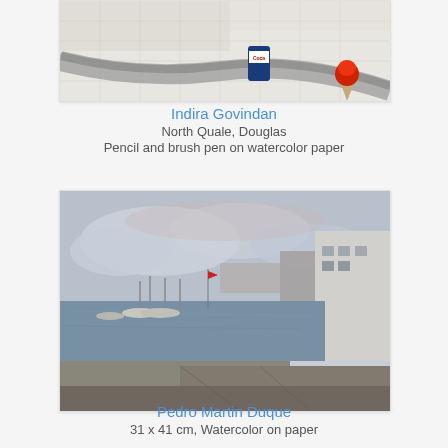[Figure (illustration): Cropped top of a pencil and brush pen drawing of North Quale, Douglas by Indira Govindan, showing a street scene with pavement, a drinks can and an ice cream cone illustration]
Indira Govindan
North Quale, Douglas
Pencil and brush pen on watercolor paper
[Figure (illustration): Watercolor painting of a harbor scene with boats, a pier/quay wall, and buildings by Pedro Martin Duque, 31 x 41 cm, Watercolor on paper]
Pedro Martin Duque
31 x 41 cm, Watercolor on paper